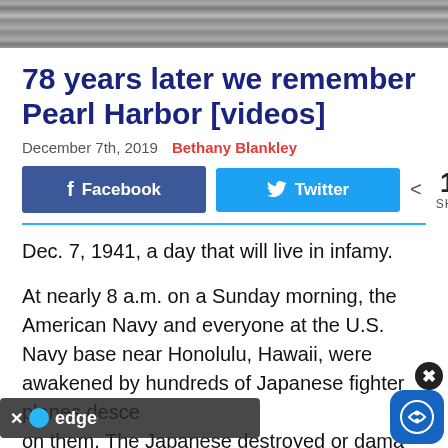[Figure (photo): Grayscale photo of water surface, cropped at top of page]
78 years later we remember Pearl Harbor [videos]
December 7th, 2019   Bethany Blankley
[Figure (infographic): Social share buttons: Facebook button, Twitter button, share icon with 147 SHARES]
Dec. 7, 1941, a day that will live in infamy.
At nearly 8 a.m. on a Sunday morning, the American Navy and everyone at the U.S. Navy base near Honolulu, Hawaii, were awakened by hundreds of Japanese fighter planes descending on them. The Japanese destroyed or dama...